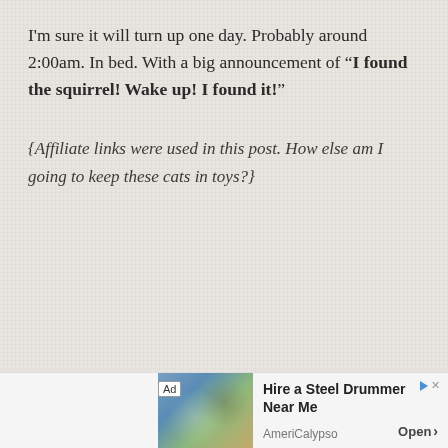I'm sure it will turn up one day. Probably around 2:00am. In bed. With a big announcement of “I found the squirrel! Wake up! I found it!”
{Affiliate links were used in this post. How else am I going to keep these cats in toys?}
[Figure (other): Advertisement banner for 'Hire a Steel Drummer Near Me' by AmeriCalypso, with an image of people dancing and an Open button]